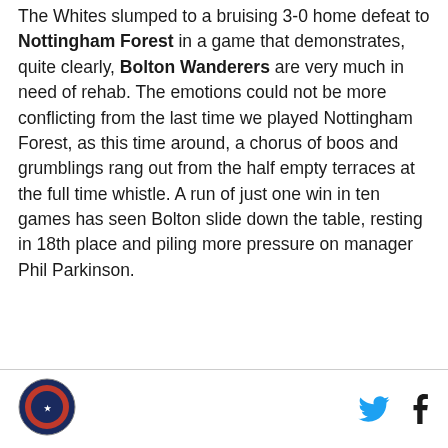The Whites slumped to a bruising 3-0 home defeat to Nottingham Forest in a game that demonstrates, quite clearly, Bolton Wanderers are very much in need of rehab. The emotions could not be more conflicting from the last time we played Nottingham Forest, as this time around, a chorus of boos and grumblings rang out from the half empty terraces at the full time whistle. A run of just one win in ten games has seen Bolton slide down the table, resting in 18th place and piling more pressure on manager Phil Parkinson.
[Figure (logo): Circular sports team logo with red and blue design]